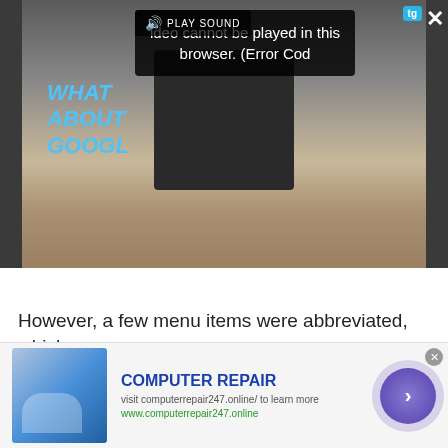[Figure (screenshot): Video player screenshot showing a dark overlay with an action camera on a wooden surface. A black popup reads 'Video cannot be played in this browser. (Error Cod'. A sound bar shows 'PLAY SOUND' in the top-left of the video. A 'tg' badge is in top-right. Close (X) and expand buttons are visible.]
However, a few menu items were abbreviated, which
[Figure (screenshot): Advertisement banner: COMPUTER REPAIR. Visit computerrepair247.online/ to learn more. www.computerrepair247.online. Shows a hand touching a circuit board image on the left and a purple arrow CTA button on the right.]